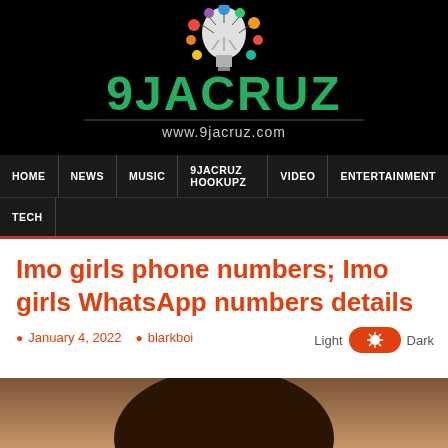[Figure (logo): 9JACRUZ website logo on black background with colorful lightbulb graphic above text '9JACRUZ' in green, and 'www.9jacruz.com' below]
HOME | NEWS | MUSIC | 9JACRUZ HOOKUPZ | VIDEO | ENTERTAINMENT | TECH
Imo girls phone numbers; Imo girls WhatsApp numbers details
January 4, 2022   blarkboi
[Figure (photo): Photo of a smiling woman, partial face visible at bottom of page]